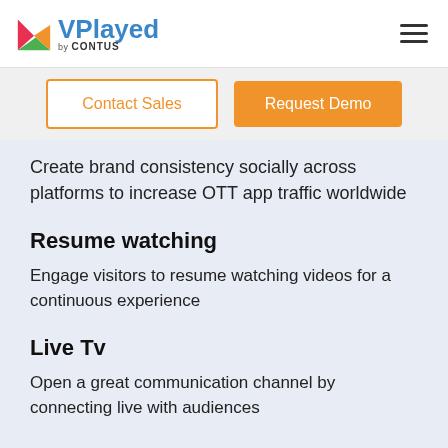VPlayed by CONTUS
Contact Sales
Request Demo
Create brand consistency socially across platforms to increase OTT app traffic worldwide
Resume watching
Engage visitors to resume watching videos for a continuous experience
Live Tv
Open a great communication channel by connecting live with audiences